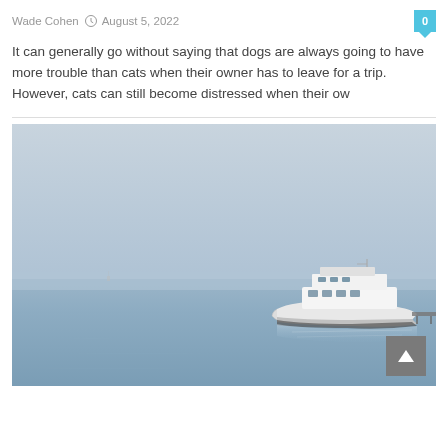Wade Cohen   August 5, 2022   0
It can generally go without saying that dogs are always going to have more trouble than cats when their owner has to leave for a trip. However, cats can still become distressed when their ow
[Figure (photo): A white luxury yacht on calm, misty pale blue water with a hazy sky. The yacht is positioned in the lower right portion of the image.]